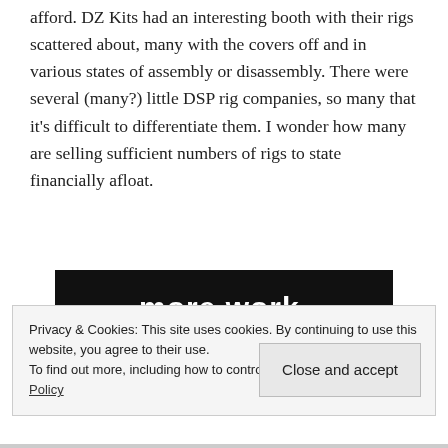afford. DZ Kits had an interesting booth with their rigs scattered about, many with the covers off and in various states of assembly or disassembly. There were several (many?) little DSP rig companies, so many that it's difficult to differentiate them. I wonder how many are selling sufficient numbers of rigs to state financially afloat.
[Figure (other): Dark banner advertisement with text 'more work.' in bold white and a button labeled 'Get started for free' with a rounded white border.]
Privacy & Cookies: This site uses cookies. By continuing to use this website, you agree to their use.
To find out more, including how to control cookies, see here: Cookie Policy
Close and accept